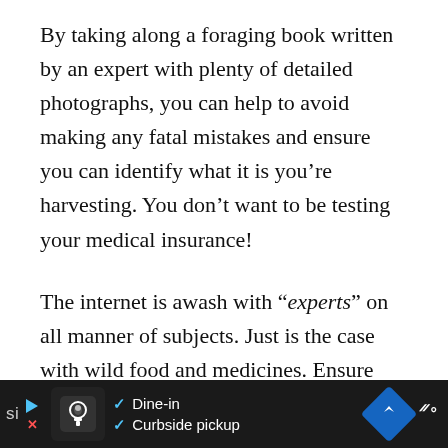By taking along a foraging book written by an expert with plenty of detailed photographs, you can help to avoid making any fatal mistakes and ensure you can identify what it is you're harvesting. You don't want to be testing your medical insurance!
The internet is awash with “experts” on all manner of subjects. Just is the case with wild food and medicines. Ensure that you source your information from reputable and recommended
[Figure (other): Advertisement bar at bottom: dark background with restaurant/food app ad showing Dine-in and Curbside pickup options with checkmarks, navigation arrow icon, and sound icon]